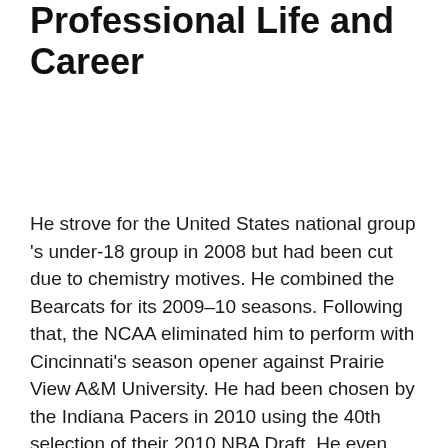Professional Life and Career
He strove for the United States national group 's under-18 group in 2008 but had been cut due to chemistry motives. He combined the Bearcats for its 2009–10 seasons. Following that, the NCAA eliminated him to perform with Cincinnati's season opener against Prairie View A&M University. He had been chosen by the Indiana Pacers in 2010 using the 40th selection of their 2010 NBA Draft. He even also made his NBA debut for the Pacers at a match against the Phoenix Suns at February 2011. He also left the club to get Charlotte Hornets at 2014. In July 2014he signed up a whopping, $27 million deal